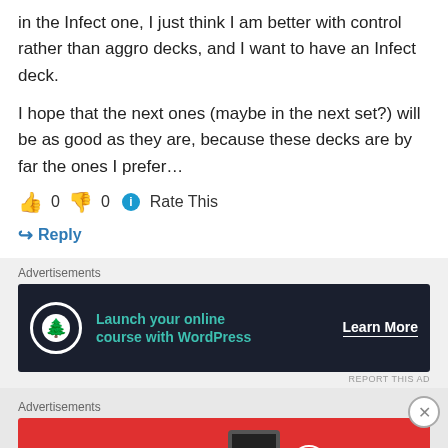in the Infect one, I just think I am better with control rather than aggro decks, and I want to have an Infect deck.
I hope that the next ones (maybe in the next set?) will be as good as they are, because these decks are by far the ones I prefer…
👍 0 👎 0 ℹ Rate This
↪ Reply
Advertisements
[Figure (other): Advertisement banner for WordPress online course: 'Launch your online course with WordPress' with a Learn More button on dark background]
REPORT THIS AD
Advertisements
[Figure (other): Advertisement banner for Pocket Casts app on red background: 'An app by listeners, for listeners.' with Pocket Casts logo]